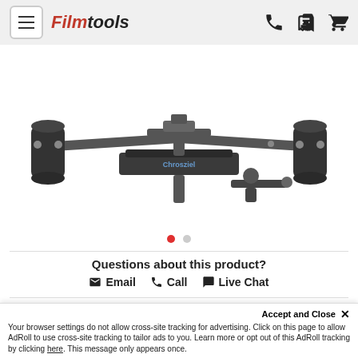[Figure (screenshot): Filmtools website header with hamburger menu, Filmtools logo in red italic, phone and cart icons on the right, on a light gray background]
[Figure (screenshot): Search bar with placeholder text 'Search SKU, MPN, or Product...' and a red search button on the right]
[Figure (photo): Product image showing a camera rigging/mounting system with two cylindrical holders on each side, a center platform with Chrosziel branding, and a ball head clamp attachment. Dark metal construction.]
Questions about this product?
Email   Call   Live Chat
$1,155.00
In Stock: Order now to ship the next business day
Accept and Close ×
Your browser settings do not allow cross-site tracking for advertising. Click on this page to allow AdRoll to use cross-site tracking to tailor ads to you. Learn more or opt out of this AdRoll tracking by clicking here. This message only appears once.